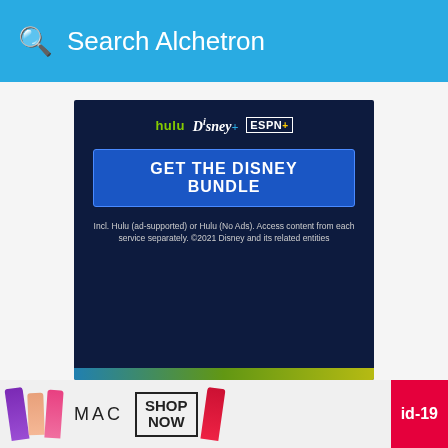Search Alchetron
[Figure (photo): Disney Bundle advertisement showing Hulu, Disney+, and ESPN+ logos with a blue 'GET THE DISNEY BUNDLE' button and disclaimer text on a dark navy background]
About
Terms
Privacy
Contact
Alchetr... © 2022
[Figure (photo): MAC cosmetics advertisement showing lipsticks and SHOP NOW button with id-19 badge]